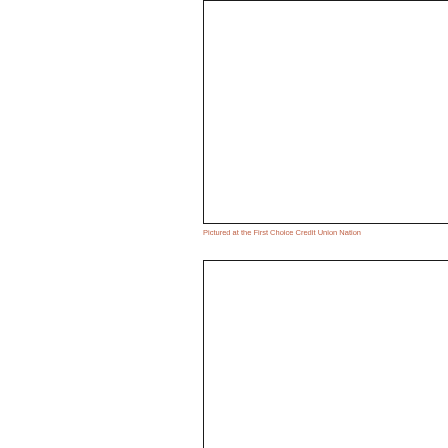[Figure (photo): Top photograph, partially visible on the right half of the page — appears to be a photo taken at the First Choice Credit Union National event]
Pictured at the First Choice Credit Union Nation
[Figure (photo): Bottom photograph, partially visible on the right half of the page — additional image from the First Choice Credit Union National event]